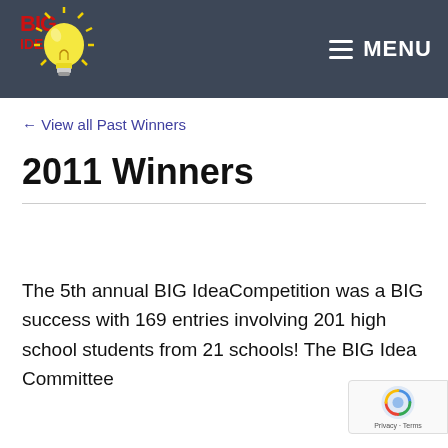BIG Idea — MENU
← View all Past Winners
2011 Winners
The 5th annual BIG IdeaCompetition was a BIG success with 169 entries involving 201 high school students from 21 schools! The BIG Idea Committee